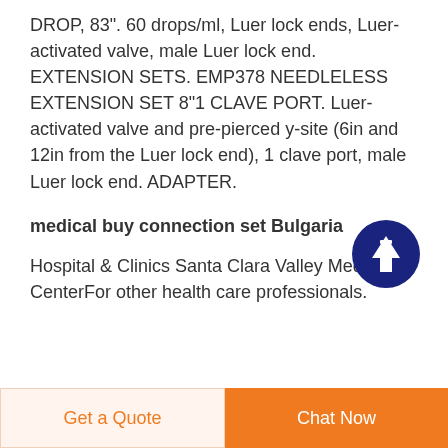DROP, 83". 60 drops/ml, Luer lock ends, Luer-activated valve, male Luer lock end. EXTENSION SETS. EMP378 NEEDLELESS EXTENSION SET 8"1 CLAVE PORT. Luer-activated valve and pre-pierced y-site (6in and 12in from the Luer lock end), 1 clave port, male Luer lock end. ADAPTER.
medical buy connection set Bulgaria
Hospital & Clinics Santa Clara Valley Medical CenterFor other health care professionals.
Get a Quote | Chat Now